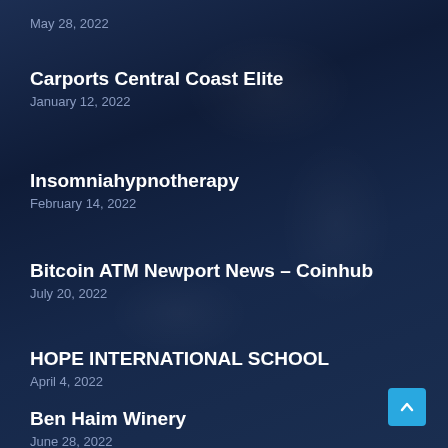May 28, 2022
Carports Central Coast Elite
January 12, 2022
Insomniahypnotherapy
February 14, 2022
Bitcoin ATM Newport News – Coinhub
July 20, 2022
HOPE INTERNATIONAL SCHOOL
April 4, 2022
Ben Haim Winery
June 28, 2022